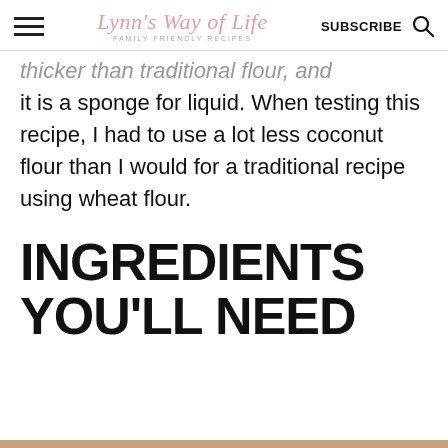Lynn's Way of Life — FAMILY FRIENDLY RECIPES | SUBSCRIBE
thicker than traditional flour, and it is a sponge for liquid. When testing this recipe, I had to use a lot less coconut flour than I would for a traditional recipe using wheat flour.
INGREDIENTS YOU'LL NEED